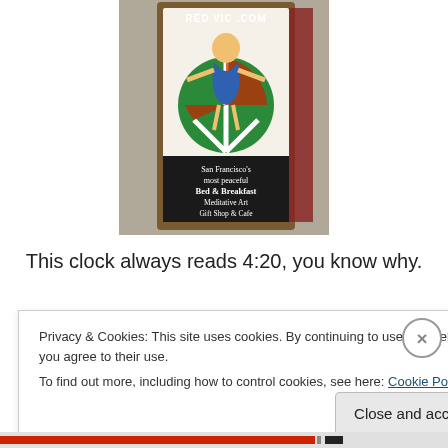[Figure (photo): Photo of a painted wooden sign for 'redvic.com' showing a peace sign and a hippie figure. Below it reads: "San Francisco's most peaceful Bed & Breakfast Meditative Art Gift Shop & Cafe"]
This clock always reads 4:20, you know why.
[Figure (photo): Partial photo of a building exterior with trees and blue sky visible]
Privacy & Cookies: This site uses cookies. By continuing to use this website, you agree to their use.
To find out more, including how to control cookies, see here: Cookie Policy
Close and accept